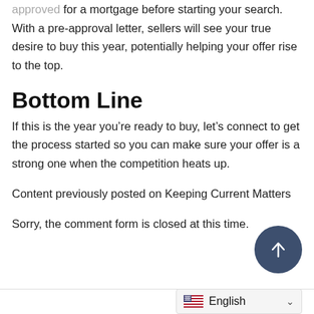approved for a mortgage before starting your search. With a pre-approval letter, sellers will see your true desire to buy this year, potentially helping your offer rise to the top.
Bottom Line
If this is the year you’re ready to buy, let’s connect to get the process started so you can make sure your offer is a strong one when the competition heats up.
Content previously posted on Keeping Current Matters
Sorry, the comment form is closed at this time.